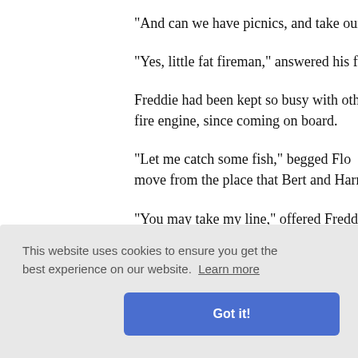"And can we have picnics, and take our
"Yes, little fat fireman," answered his fa
Freddie had been kept so busy with oth
fire engine, since coming on board.
"Let me catch some fish," begged Flo
move from the place that Bert and Harry
"You may take my line," offered Freddi
I think perhaps Freddie grew weary bec
[obscured] h excitem
[obscured] ert had m
said Flo
[obscured] oned Mrs
This website uses cookies to ensure you get the best experience on our website. Learn more
Got it!